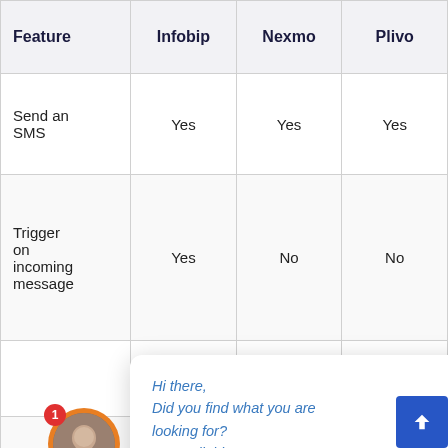| Feature | Infobip | Nexmo | Plivo |
| --- | --- | --- | --- |
| Send an SMS | Yes | Yes | Yes |
| Trigger on incoming message | Yes | No | No |
|  |  |  | Yes |
|  | m
ow |  | No |
| Voice |  |  |  |
[Figure (screenshot): Chat popup overlay with message: Hi there, Did you find what you are looking for? I'm available to answer your questions. Has an orange close button (x) in top right, and an avatar bubble with notification badge (1) in the bottom left.]